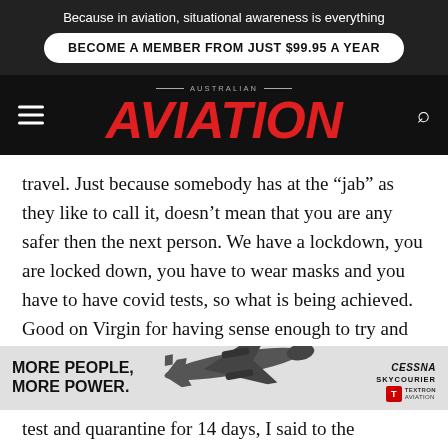Because in aviation, situational awareness is everything
BECOME A MEMBER FROM JUST $99.95 A YEAR
[Figure (logo): Australian Aviation magazine logo with red italic AVIATION text on dark background, hamburger menu icon on left, search icon on right]
travel. Just because somebody has at the “jab” as they like to call it, doesn’t mean that you are any safer then the next person. We have a lockdown, you are locked down, you have to wear masks and you have to have covid tests, so what is being achieved. Good on Virgin for having sense enough to try and make us feel “normal” again. An example, on returning on
[Figure (advertisement): Cessna SkyCourier advertisement with plane image, text MORE PEOPLE. MORE POWER., Cessna SkyCourier and Textron Aviation logos]
test and quarantine for 14 days, I said to the